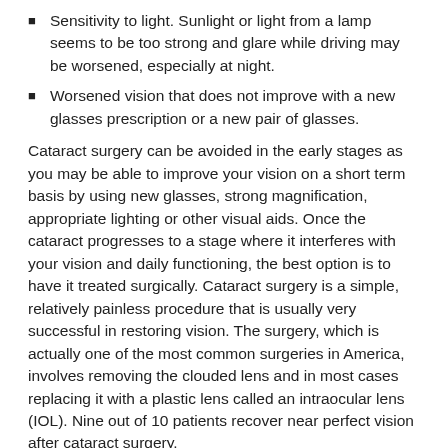Sensitivity to light. Sunlight or light from a lamp seems to be too strong and glare while driving may be worsened, especially at night.
Worsened vision that does not improve with a new glasses prescription or a new pair of glasses.
Cataract surgery can be avoided in the early stages as you may be able to improve your vision on a short term basis by using new glasses, strong magnification, appropriate lighting or other visual aids. Once the cataract progresses to a stage where it interferes with your vision and daily functioning, the best option is to have it treated surgically. Cataract surgery is a simple, relatively painless procedure that is usually very successful in restoring vision. The surgery, which is actually one of the most common surgeries in America, involves removing the clouded lens and in most cases replacing it with a plastic lens called an intraocular lens (IOL). Nine out of 10 patients recover near perfect vision after cataract surgery.
While there is nothing proven to prevent cataracts, there are number of steps you can take to reduce your risk.